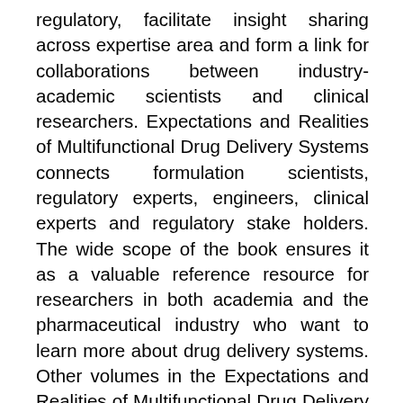regulatory, facilitate insight sharing across expertise area and form a link for collaborations between industry-academic scientists and clinical researchers. Expectations and Realities of Multifunctional Drug Delivery Systems connects formulation scientists, regulatory experts, engineers, clinical experts and regulatory stake holders. The wide scope of the book ensures it as a valuable reference resource for researchers in both academia and the pharmaceutical industry who want to learn more about drug delivery systems. Other volumes in the Expectations and Realities of Multifunctional Drug Delivery Systems book series: Delivery of Drugs, Volume 2, 9780128177761 Drug Delivery Trends, Volume 3, 9780128178706 Drug Delivery Aspects, Volume 4, 9780128212226 Encompasses functional aspects of nanocarriers Discusses